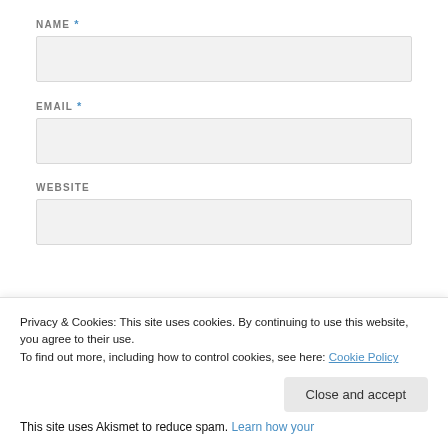NAME *
EMAIL *
WEBSITE
Privacy & Cookies: This site uses cookies. By continuing to use this website, you agree to their use.
To find out more, including how to control cookies, see here: Cookie Policy
Close and accept
This site uses Akismet to reduce spam. Learn how your